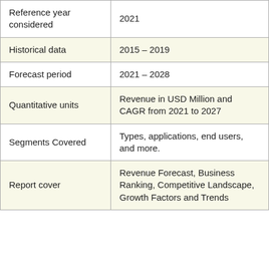| Reference year considered | 2021 |
| Historical data | 2015 – 2019 |
| Forecast period | 2021 – 2028 |
| Quantitative units | Revenue in USD Million and CAGR from 2021 to 2027 |
| Segments Covered | Types, applications, end users, and more. |
| Report cover | Revenue Forecast, Business Ranking, Competitive Landscape, Growth Factors and Trends |